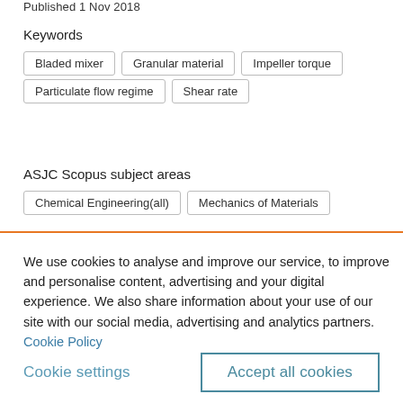Published  1 Nov 2018
Keywords
Bladed mixer
Granular material
Impeller torque
Particulate flow regime
Shear rate
ASJC Scopus subject areas
Chemical Engineering(all)
Mechanics of Materials
We use cookies to analyse and improve our service, to improve and personalise content, advertising and your digital experience. We also share information about your use of our site with our social media, advertising and analytics partners.  Cookie Policy
Cookie settings
Accept all cookies